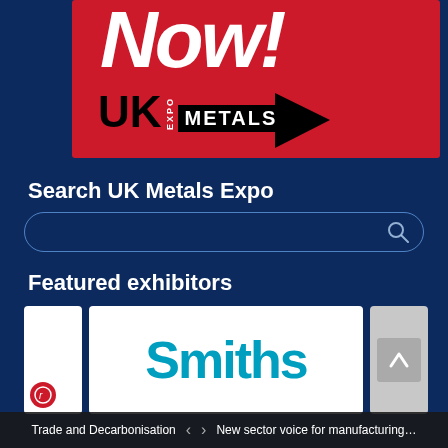[Figure (logo): UK Metals Expo banner with red background, 'NOW!' text in white italic, UK Metals Expo logo with black play arrow triangle]
Search UK Metals Expo
[Figure (other): Search input box with rounded border and magnifying glass icon]
Featured exhibitors
[Figure (logo): Smiths logo in teal/blue color on white card background, with registered trademark circle icon. Partial exhibitor cards visible on sides.]
Trade and Decarbonisation  <  >  New sector voice for manufacturing…